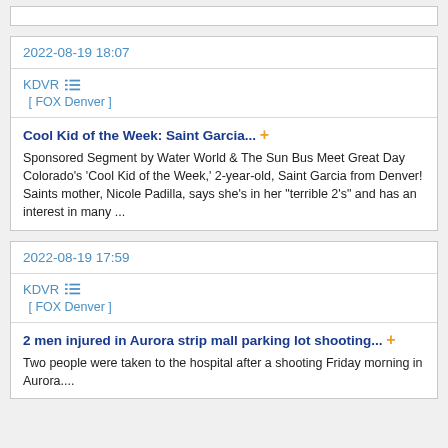2022-08-19 18:07
KDVR [ FOX Denver ]
Cool Kid of the Week: Saint Garcia... + Sponsored Segment by Water World & The Sun Bus Meet Great Day Colorado's 'Cool Kid of the Week,' 2-year-old, Saint Garcia from Denver! Saints mother, Nicole Padilla, says she's in her "terrible 2's" and has an interest in many ...
2022-08-19 17:59
KDVR [ FOX Denver ]
2 men injured in Aurora strip mall parking lot shooting... + Two people were taken to the hospital after a shooting Friday morning in Aurora....